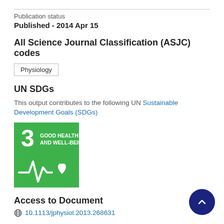Publication status
Published - 2014 Apr 15
All Science Journal Classification (ASJC) codes
Physiology
UN SDGs
This output contributes to the following UN Sustainable Development Goals (SDGs)
[Figure (illustration): UN SDG Goal 3: Good Health and Well-Being badge — green square with white number 3, text GOOD HEALTH AND WELL-BEING, and an ECG/heartbeat line with heart icon]
Access to Document
10.1113/jphysiol.2013.268631